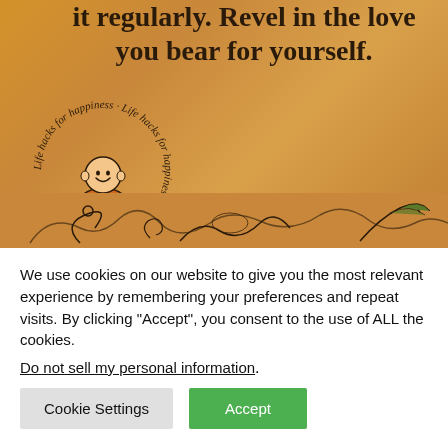[Figure (illustration): Parchment-style image with a quote 'it regularly. Revel in the love you bear for yourself.' A Buddha/monk cartoon figure with circular text 'Life hacks for happiness' around it. Below: 'Did you smile today? lifehacksforhappiness.com' and decorative scrollwork at the bottom.]
We use cookies on our website to give you the most relevant experience by remembering your preferences and repeat visits. By clicking “Accept”, you consent to the use of ALL the cookies.
Do not sell my personal information.
Cookie Settings
Accept